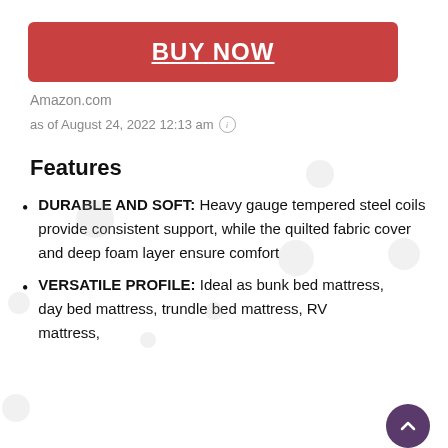BUY NOW
Amazon.com
as of August 24, 2022 12:13 am ℹ
Features
DURABLE AND SOFT: Heavy gauge tempered steel coils provide consistent support, while the quilted fabric cover and deep foam layer ensure comfort
VERSATILE PROFILE: Ideal as bunk bed mattress, day bed mattress, trundle bed mattress, RV mattress,